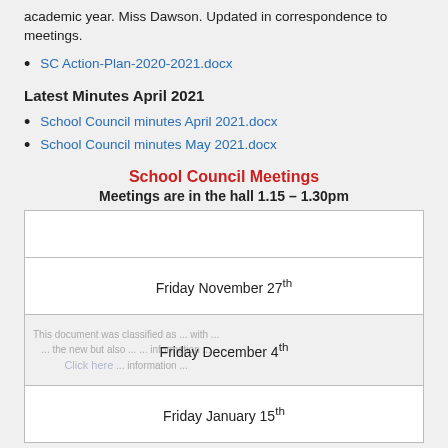academic year. Miss Dawson. Updated in correspondence to meetings.
SC Action-Plan-2020-2021.docx
Latest Minutes April 2021
School Council minutes April 2021.docx
School Council minutes May 2021.docx
School Council Meetings
Meetings are in the hall 1.15 – 1.30pm
|  |
| --- |
|  |
| Friday November 27th |
| Friday December 4th |
| Friday January 15th |